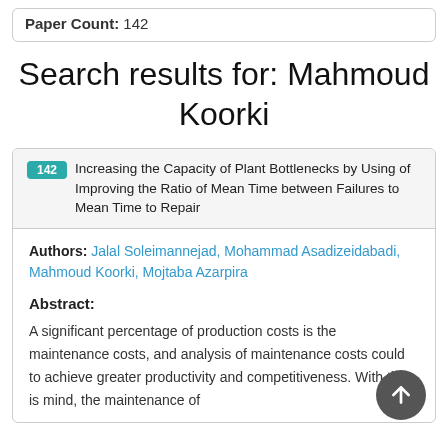Paper Count: 142
Search results for: Mahmoud Koorki
142 Increasing the Capacity of Plant Bottlenecks by Using of Improving the Ratio of Mean Time between Failures to Mean Time to Repair
Authors: Jalal Soleimannejad, Mohammad Asadizeidabadi, Mahmoud Koorki, Mojtaba Azarpira
Abstract:
A significant percentage of production costs is the maintenance costs, and analysis of maintenance costs could to achieve greater productivity and competitiveness. With this is mind, the maintenance of